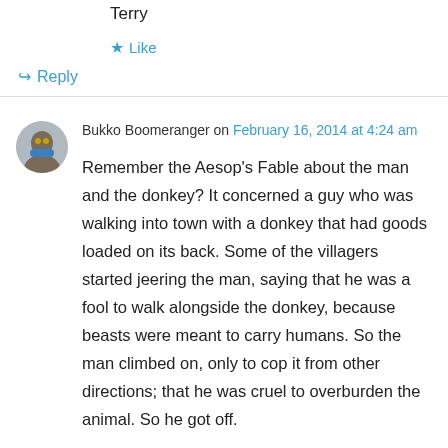Terry
★ Like
↪ Reply
Bukko Boomeranger on February 16, 2014 at 4:24 am
Remember the Aesop's Fable about the man and the donkey? It concerned a guy who was walking into town with a donkey that had goods loaded on its back. Some of the villagers started jeering the man, saying that he was a fool to walk alongside the donkey, because beasts were meant to carry humans. So the man climbed on, only to cop it from other directions; that he was cruel to overburden the animal. So he got off.